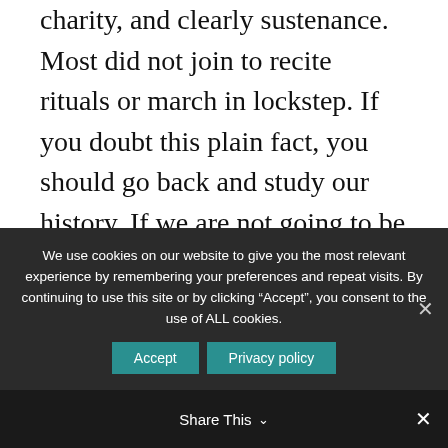charity, and clearly sustenance. Most did not join to recite rituals or march in lockstep. If you doubt this plain fact, you should go back and study our history. If we are not going to be open to guests or visitors, how exactly do we plan to grow? To grow we need to treat our guests just as if they visited our homes. If the cupboard is bare, and the doors and windows locked up tight, what message
We use cookies on our website to give you the most relevant experience by remembering your preferences and repeat visits. By continuing to use this site or by clicking “Accept”, you consent to the use of ALL cookies.
Share This